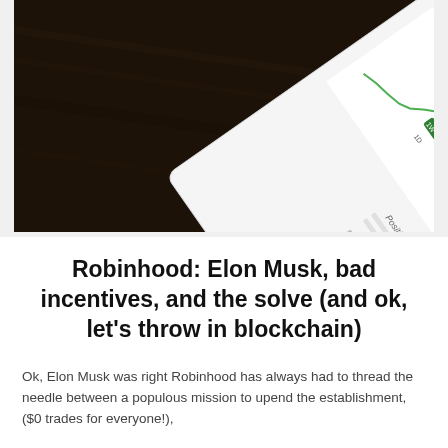[Figure (photo): A smartphone showing the Robinhood trading app interface with a green stock chart and position details, placed on a dark wooden surface photographed at an angle.]
Robinhood: Elon Musk, bad incentives, and the solve (and ok, let’s throw in blockchain)
Ok, Elon Musk was right Robinhood has always had to thread the needle between a populous mission to upend the establishment, ($0 trades for everyone!),